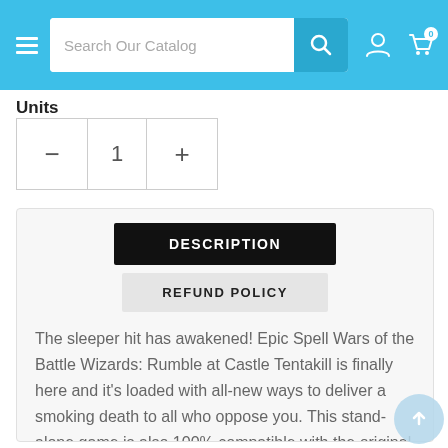[Figure (screenshot): E-commerce website navigation bar with hamburger menu, search field labeled 'Search Our Catalog', search button, user icon, and cart icon with badge showing 0]
Units
[Figure (other): Quantity selector widget with minus button, value 1, and plus button]
DESCRIPTION
REFUND POLICY
The sleeper hit has awakened! Epic Spell Wars of the Battle Wizards: Rumble at Castle Tentakill is finally here and it's loaded with all-new ways to deliver a smoking death to all who oppose you. This stand-alone game is also 100% compatible with the original game, which allows players to turn an already epic game into an EPIC game.